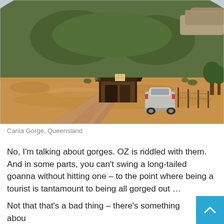[Figure (photo): A rural Australian landscape at Cania Gorge, Queensland. A dirt road curves through dry golden grassland toward a rustic wooden shed/shelter structure. A white car is parked beside the shed. In the background, a large hill covered in eucalyptus and scrub vegetation rises under an overcast sky.]
Cania Gorge, Queensland
No, I'm talking about gorges. OZ is riddled with them. And in some parts, you can't swing a long-tailed goanna without hitting one – to the point where being a tourist is tantamount to being all gorged out …
Not that that's a bad thing – there's something abou